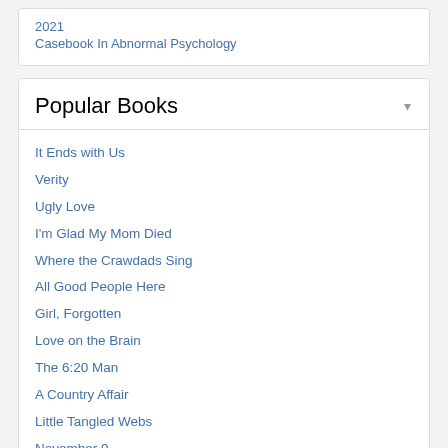2021
Casebook In Abnormal Psychology
Popular Books
It Ends with Us
Verity
Ugly Love
I'm Glad My Mom Died
Where the Crawdads Sing
All Good People Here
Girl, Forgotten
Love on the Brain
The 6:20 Man
A Country Affair
Little Tangled Webs
November 9
The Love Songs of W.E.B. Du Bois
The Ninth Month